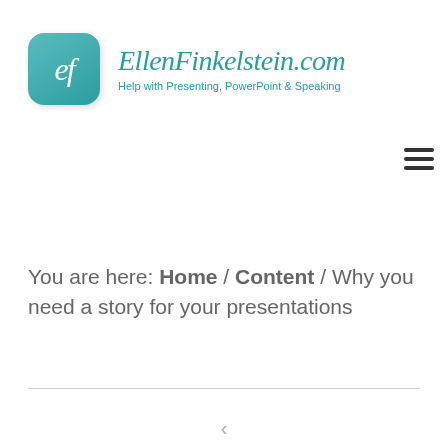EllenFinkelstein.com — Help with Presenting, PowerPoint & Speaking
You are here: Home / Content / Why you need a story for your presentations